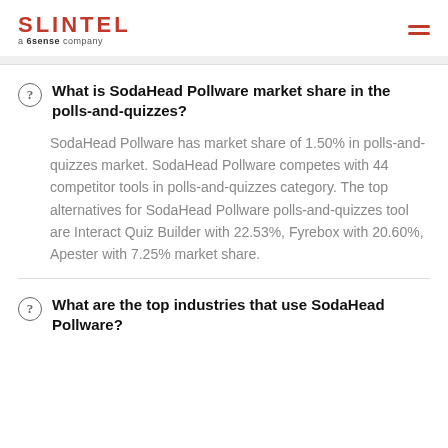SLINTEL a 6sense company
What is SodaHead Pollware market share in the polls-and-quizzes?
SodaHead Pollware has market share of 1.50% in polls-and-quizzes market. SodaHead Pollware competes with 44 competitor tools in polls-and-quizzes category. The top alternatives for SodaHead Pollware polls-and-quizzes tool are Interact Quiz Builder with 22.53%, Fyrebox with 20.60%, Apester with 7.25% market share.
What are the top industries that use SodaHead Pollware?